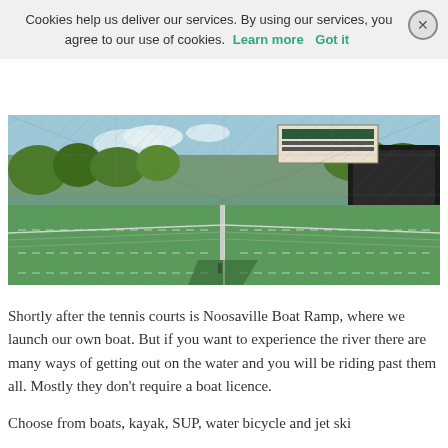Cookies help us deliver our services. By using our services, you agree to our use of cookies. Learn more  Got it
[Figure (photo): Outdoor tennis courts with green artificial grass surface, chain-link fencing visible in foreground and background, trees visible beyond the fence, a scoreboard sign, and tennis net in the middle of the court. Blue sky with some clouds.]
Shortly after the tennis courts is Noosaville Boat Ramp, where we launch our own boat. But if you want to experience the river there are many ways of getting out on the water and you will be riding past them all. Mostly they don't require a boat licence.
Choose from boats, kayak, SUP, water bicycle and jet ski